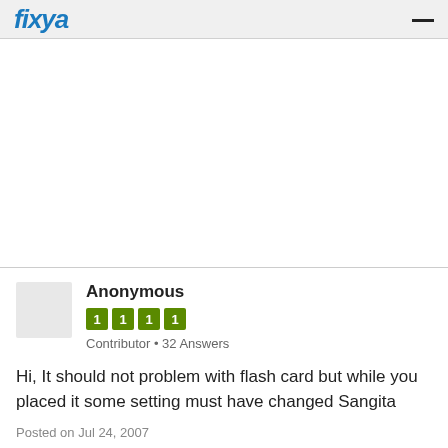fixya
[Figure (other): Advertisement area (blank white space)]
Anonymous
1 1 1 1
Contributor • 32 Answers
Hi, It should not problem with flash card but while you placed it some setting must have changed Sangita
Posted on Jul 24, 2007